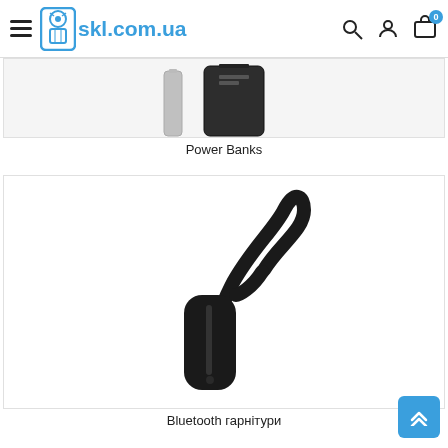skl.com.ua
[Figure (photo): Power bank devices (silver and black) partially visible at top of image]
Power Banks
[Figure (photo): Black Bluetooth mono headset/earpiece with ear hook on white background]
Bluetooth гарнітури